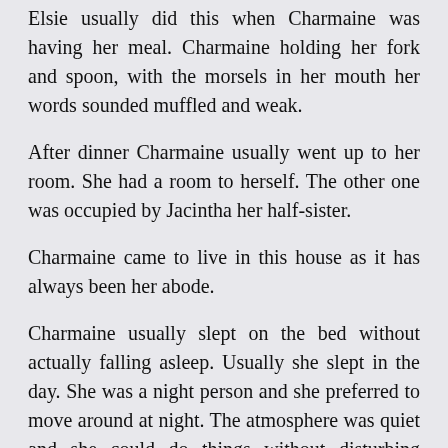Elsie usually did this when Charmaine was having her meal. Charmaine holding her fork and spoon, with the morsels in her mouth her words sounded muffled and weak.
After dinner Charmaine usually went up to her room. She had a room to herself. The other one was occupied by Jacintha her half-sister.
Charmaine came to live in this house as it has always been her abode.
Charmaine usually slept on the bed without actually falling asleep. Usually she slept in the day. She was a night person and she preferred to move around at night. The atmosphere was quiet and she could do things without disturbing anybody. She liked to change into her white dress as it was frilly and the reason why she particularly liked this dress was because her parents put her in a frilly frock soon after she was born.